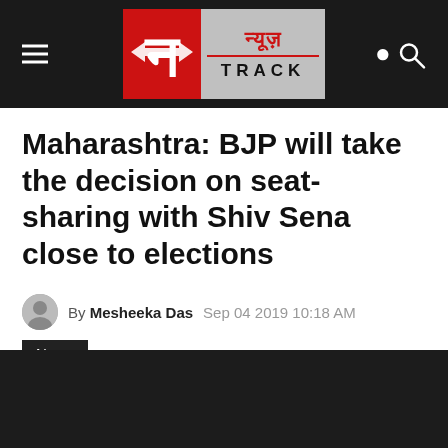[Figure (logo): News Track logo with red and grey background, Hindi text न्यूज़ and TRACK below]
Maharashtra: BJP will take the decision on seat-sharing with Shiv Sena close to elections
By Mesheeka Das   Sep 04 2019 10:18 AM   News